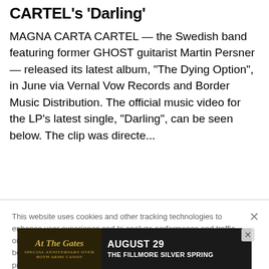CARTEL's 'Darling'
MAGNA CARTA CARTEL — the Swedish band featuring former GHOST guitarist Martin Persner — released its latest album, "The Dying Option", in June via Vernal Vow Records and Border Music Distribution. The official music video for the LP's latest single, "Darling", can be seen below. The clip was directe...
This website uses cookies and other tracking technologies to enhance user experience and to analyze performance and traffic on our website. Information about your use of our site may also be shared with social media, advertising, retail and analytics providers and partners. Privacy Policy
[Figure (infographic): Advertisement banner for At The Gates concert — AUGUST 29, THE FILLMORE SILVER SPRING]